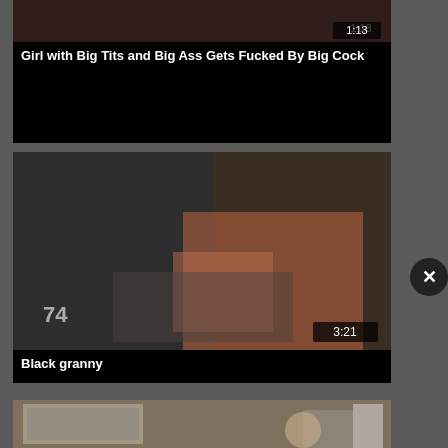[Figure (screenshot): Video thumbnail (partially visible at top) with duration badge 1:13]
Girl with Big Tits and Big Ass Gets Fucked By Big Cock
[Figure (screenshot): Video thumbnail of black granny scene with duration badge 3:21]
Black granny
[Figure (screenshot): Video thumbnail (partially visible at bottom)]